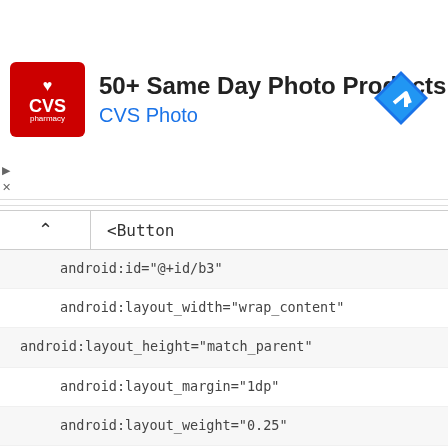[Figure (screenshot): CVS Photo advertisement banner with red CVS pharmacy logo, text '50+ Same Day Photo Products' and 'CVS Photo', and a blue diamond navigation icon on the right]
<Button
android:id="@+id/b3"
android:layout_width="wrap_content"
android:layout_height="match_parent"
android:layout_margin="1dp"
android:layout_weight="0.25"
android:background="#ED6996"
android:text="3"
android:textColor="#ecf0f1"